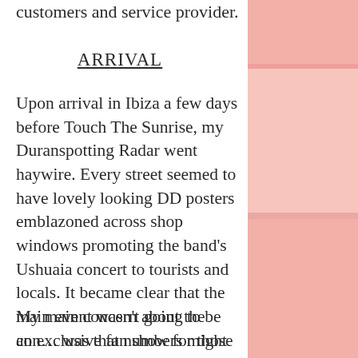customers and service provider.
ARRIVAL
Upon arrival in Ibiza a few days before Touch The Sunrise, my Duranspotting Radar went haywire. Every street seemed to have lovely looking DD posters emblazoned across shop windows promoting the band’s Ushuaia concert to tourists and locals. It became clear that the main event wasn’t going to be an exclusive fan show for those on the Pollen trip - nor do I believe it was ever marketed as such.
My main concern about the con… was that numbers might be a bit thin